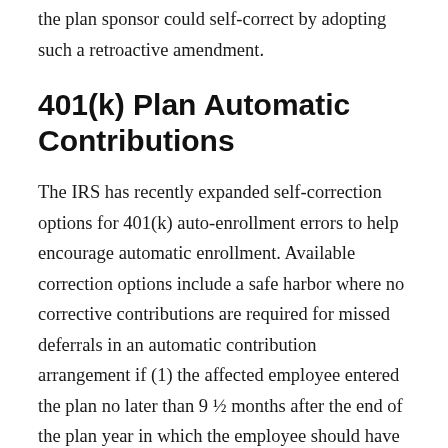the plan sponsor could self-correct by adopting such a retroactive amendment.
401(k) Plan Automatic Contributions
The IRS has recently expanded self-correction options for 401(k) auto-enrollment errors to help encourage automatic enrollment. Available correction options include a safe harbor where no corrective contributions are required for missed deferrals in an automatic contribution arrangement if (1) the affected employee entered the plan no later than 9 ½ months after the end of the plan year in which the employee should have been enrolled, (2)